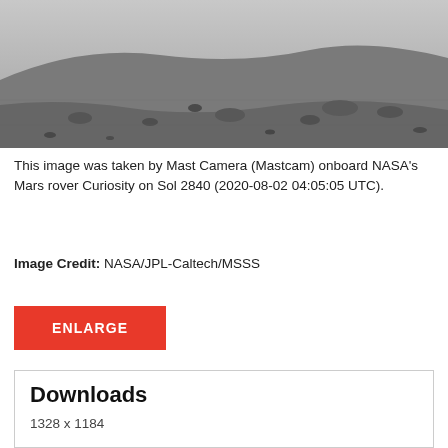[Figure (photo): Grayscale photograph taken by Mast Camera (Mastcam) onboard NASA's Mars rover Curiosity showing Martian surface with rocky terrain and a hill or ridge in the background.]
This image was taken by Mast Camera (Mastcam) onboard NASA's Mars rover Curiosity on Sol 2840 (2020-08-02 04:05:05 UTC).
Image Credit: NASA/JPL-Caltech/MSSS
ENLARGE
Downloads
1328 x 1184